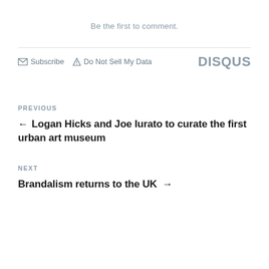Be the first to comment.
Subscribe  Do Not Sell My Data  DISQUS
PREVIOUS
← Logan Hicks and Joe Iurato to curate the first urban art museum
NEXT
Brandalism returns to the UK →